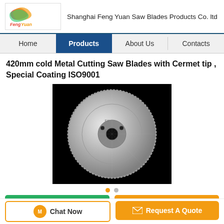[Figure (logo): Feng Yuan company logo with colorful swoosh design and company name]
Shanghai Feng Yuan Saw Blades Products Co. ltd
Home | Products | About Us | Contacts
420mm cold Metal Cutting Saw Blades with Cermet tip , Special Coating ISO9001
[Figure (photo): Circular saw blade with cermet tips on black background, showing silver blade with teeth around perimeter and center hole]
Chat Now
Request A Quote